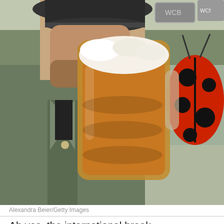[Figure (photo): A man in traditional Bavarian attire (grey jacket, dark hat) drinking from a large glass beer stein (Masskrug) with frothy beer. In the background there is a large red ladybug balloon/inflatable, colorful fair tents, and signs. The scene appears to be at Oktoberfest or a similar German festival.]
Alexandra Beier/Getty Images
Ah yes, the international break.